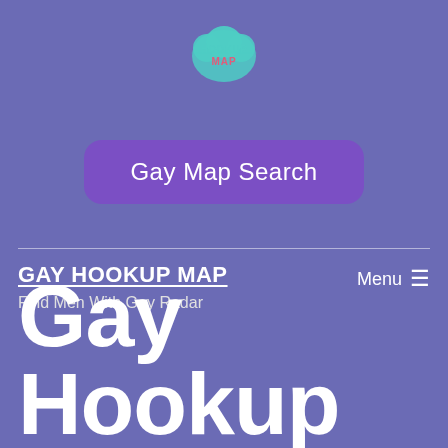[Figure (logo): Hookup Map logo — stylized teal brain/cloud shape with text 'HOOKUP MAP' in teal and red/pink letters]
Gay Map Search
GAY HOOKUP MAP
Find Men With Gay Radar
Menu ≡
Gay Hookup